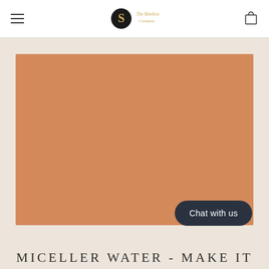The SkinScience Company
[Figure (photo): Large terracotta/salmon colored rectangular hero image placeholder on a beige background]
Chat with us
MICELLER WATER - MAKE IT